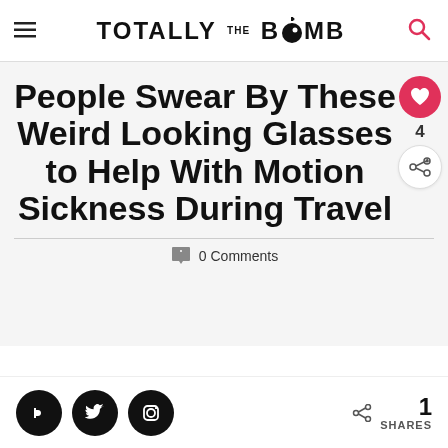TOTALLY THE BOMB
People Swear By These Weird Looking Glasses to Help With Motion Sickness During Travel
0 Comments
1 SHARES